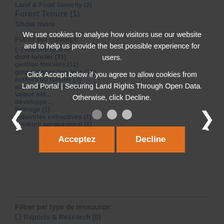Land & Food Security (2)
Forest Tenure (1)
Show more
Filtrer par concept:
(–) marché foncier
droit foncier (31)
gestion foncière (11)
gouvernance foncière (11)
acteurs du foncier (7)
administration foncière (7)
valeur nette (...)
développe... (...)
fermage (1)
industries extractives (1)
système agropastoral (1)
Filtrer par type de ressource:
Reports & Research (9)
[Figure (screenshot): Cookie consent modal overlay with dark background, showing message: 'We use cookies to analyse how visitors use our website and to help us provide the best possible experience for users. Click Accept below if you agree to allow cookies from Land Portal | Securing Land Rights Through Open Data. Otherwise, click Decline.' with three dots carousel indicator and two orange buttons: Acceptez and Decline, plus left/right chevron arrows.]